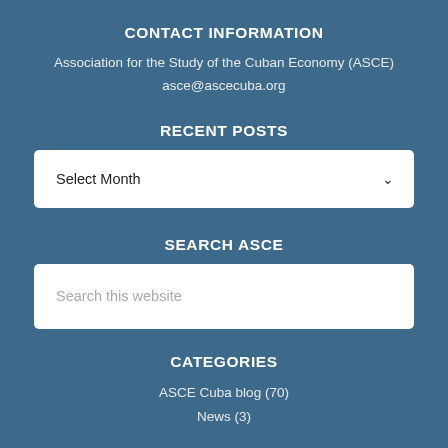CONTACT INFORMATION
Association for the Study of the Cuban Economy (ASCE)
asce@ascecuba.org
RECENT POSTS
[Figure (screenshot): Dropdown selector showing 'Select Month' with a chevron arrow on the right]
SEARCH ASCE
[Figure (screenshot): Search input box with placeholder text 'Search this website']
CATEGORIES
ASCE Cuba blog (70)
News (3)